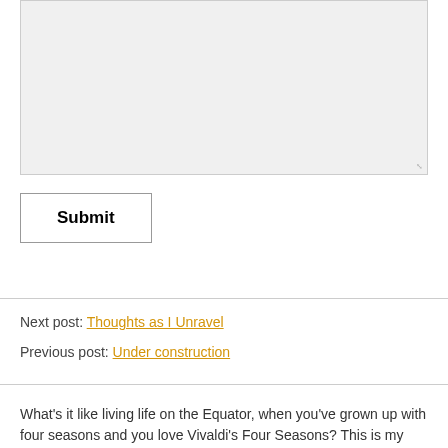[Figure (other): A large textarea input field with light gray background and resize handle in the bottom-right corner]
Submit
Next post: Thoughts as I Unravel
Previous post: Under construction
What's it like living life on the Equator, when you've grown up with four seasons and you love Vivaldi's Four Seasons? This is my take on living,